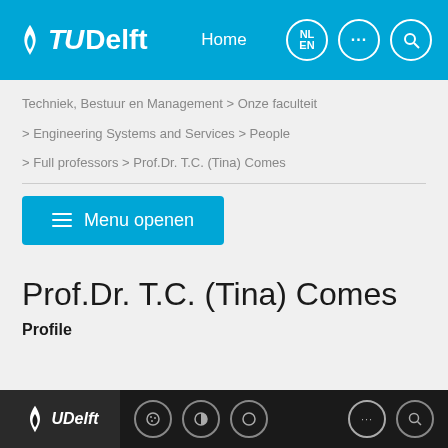TU Delft — Home navigation header with NL/EN language toggle and search
Techniek, Bestuur en Management > Onze faculteit
> Engineering Systems and Services > People
> Full professors > Prof.Dr. T.C. (Tina) Comes
Menu openen
Prof.Dr. T.C. (Tina) Comes
Profile
TU Delft footer with cookie, contrast, and search icons